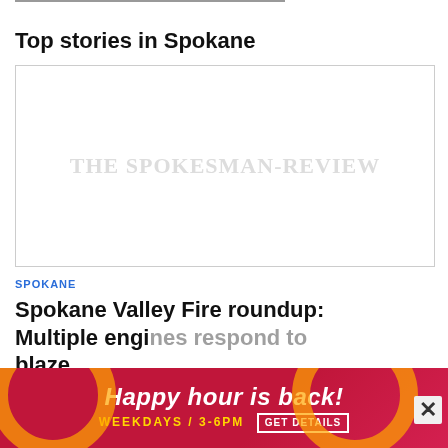Top stories in Spokane
[Figure (photo): Placeholder image with The Spokesman-Review watermark text in light gray]
SPOKANE
Spokane Valley Fire roundup: Multiple engi... blaze...
[Figure (other): Advertisement banner: Happy hour is back! WEEKDAYS / 3-6PM GET DETAILS, with decorative circles on red/pink background]